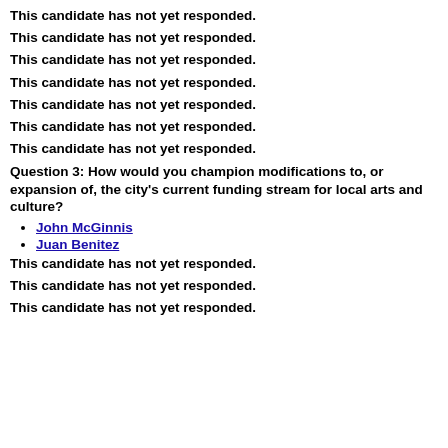This candidate has not yet responded.
This candidate has not yet responded.
This candidate has not yet responded.
This candidate has not yet responded.
This candidate has not yet responded.
This candidate has not yet responded.
This candidate has not yet responded.
Question 3: How would you champion modifications to, or expansion of, the city's current funding stream for local arts and culture?
John McGinnis
Juan Benitez
This candidate has not yet responded.
This candidate has not yet responded.
This candidate has not yet responded.